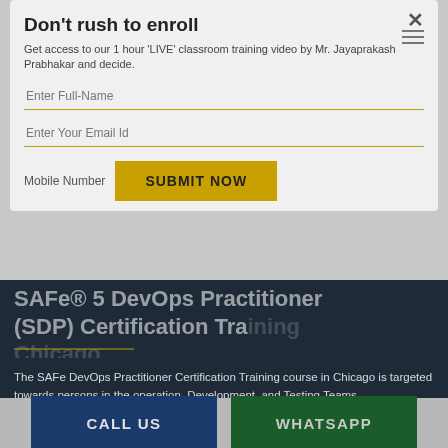Don't rush to enroll
Get access to our 1 hour 'LIVE' classroom training video by Mr. Jayaprakash Prabhakar and decide.
Enter Full-Name
Enter Your Email Id
Mobile Number
SUBMIT NOW
Home › SAFe® 5 DevOps Practitioner (SDP) Certification Training Chicago
SAFe® 5 DevOps Practitioner (SDP) Certification Training Chicago
The SAFe DevOps Practitioner Certification Training course in Chicago is targeted towards persons in the operation, Development, and Testing Teams.
LeanWisdom provides training for you to become a Certified SAFe DevOps 5.0 Practitioner (SDP).
CALL US
WHATSAPP